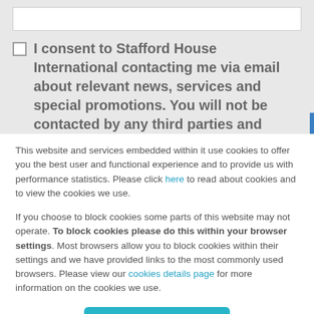[Input field]
I consent to Stafford House International contacting me via email about relevant news, services and special promotions. You will not be contacted by any third parties and
This website and services embedded within it use cookies to offer you the best user and functional experience and to provide us with performance statistics. Please click here to read about cookies and to view the cookies we use.
If you choose to block cookies some parts of this website may not operate. To block cookies please do this within your browser settings. Most browsers allow you to block cookies within their settings and we have provided links to the most commonly used browsers. Please view our cookies details page for more information on the cookies we use.
Accept + Close